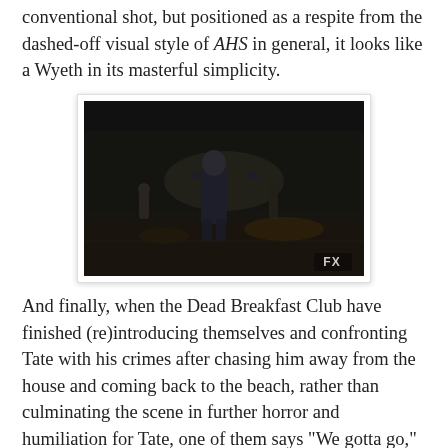conventional shot, but positioned as a respite from the dashed-off visual style of AHS in general, it looks like a Wyeth in its masterful simplicity.
[Figure (screenshot): Dark film still from AHS showing a figure walking toward the camera in a shadowy outdoor setting, with other figures visible in the background. FX logo in the bottom right corner.]
And finally, when the Dead Breakfast Club have finished (re)introducing themselves and confronting Tate with his crimes after chasing him away from the house and coming back to the beach, rather than culminating the scene in further horror and humiliation for Tate, one of them says "We gotta go," and you might, as I did at first, think, Gee, that's kind of a random way of ending the scene. Just where do a bunch of dead kids have to go so urgently anyway? Semel provides the answer in another beautiful long shot of the kids walking away from Tate on the beach, the sun ever so faintly